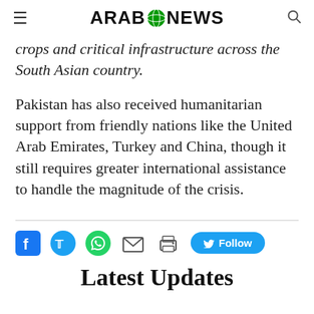ARAB NEWS
crops and critical infrastructure across the South Asian country.
Pakistan has also received humanitarian support from friendly nations like the United Arab Emirates, Turkey and China, though it still requires greater international assistance to handle the magnitude of the crisis.
[Figure (other): Social share bar with Facebook, Twitter, WhatsApp, email, print icons and a Twitter Follow button]
Latest Updates